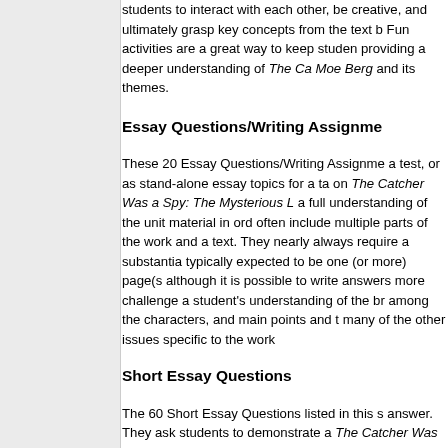students to interact with each other, be creative, and ultimately grasp key concepts from the text book. Fun activities are a great way to keep students engaged, providing a deeper understanding of The Catcher Was a Spy: The Mysterious Life of Moe Berg and its themes.
Essay Questions/Writing Assignments
These 20 Essay Questions/Writing Assignments can be used as a test, or as stand-alone essay topics for a take-home or in-class assignment on The Catcher Was a Spy: The Mysterious Life of Moe Berg. They require a full understanding of the unit material in order to answer correctly. They often include multiple parts of the work and ask for a thorough analysis of the text. They nearly always require a substantial response, and are typically expected to be one (or more) page(s) in length. Note, although it is possible to write answers more briefly, these questions challenge a student's understanding of the broad points of the book including among the characters, and main points and themes of the text, as well as many of the other issues specific to the work.
Short Essay Questions
The 60 Short Essay Questions listed in this section require a brief answer. They ask students to demonstrate an understanding of The Catcher Was a Spy: The Mysterious Life of Moe Berg by applying the information rather than just recalling it. The short essay questions show not only whether students have read the material, but also how well they understand it. Short essays require more thought than multiple choice questions and more focus than long essay questions.